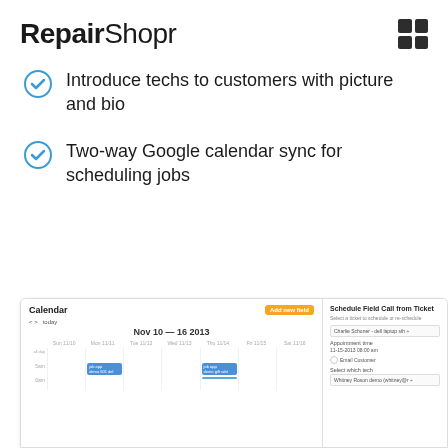[Figure (logo): RepairShopr logo with bold serif 'Repair' and light 'Shopr' text, plus a blue square accent]
[Figure (other): 2x2 dark grid icon in top right corner]
Introduce techs to customers with picture and bio
Two-way Google calendar sync for scheduling jobs
[Figure (screenshot): Screenshot of RepairShopr calendar interface showing week of Nov 10-16 2013 with blue calendar events and a Schedule Field Call from Ticket side panel on the right]